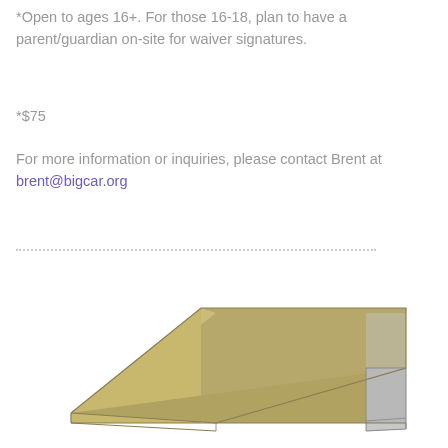*Open to ages 16+. For those 16-18, plan to have a parent/guardian on-site for waiver signatures.
*$75
For more information or inquiries, please contact Brent at brent@bigcar.org
[Figure (illustration): 3D illustration of a wooden skateboard ramp (wedge shape) with a light grey metal lip at the bottom right edge. The ramp surface is tan/khaki colored wood.]